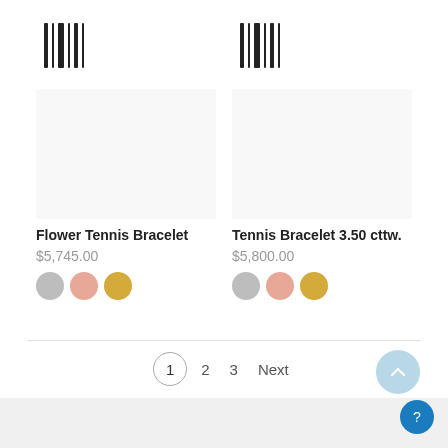[Figure (other): Barcode/music icon for Flower Tennis Bracelet product]
Flower Tennis Bracelet
$5,745.00
[Figure (other): Three color swatches: silver, rose/pink, gold]
[Figure (other): Barcode/music icon for Tennis Bracelet 3.50 cttw. product]
Tennis Bracelet 3.50 cttw.
$5,800.00
[Figure (other): Three color swatches: silver, rose/pink, gold]
1  2  3  Next